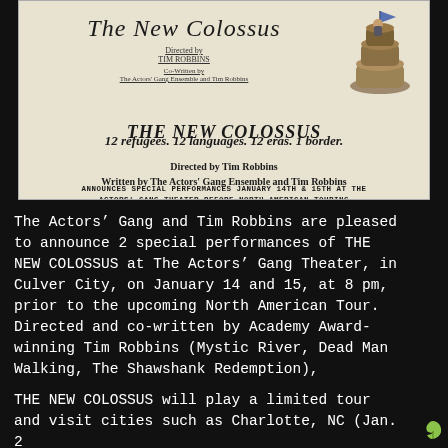[Figure (illustration): Poster image for 'The New Colossus' showing script title in cursive, directed by Tim Robbins, co-written by The Actors' Gang Ensemble and Tim Robbins, with a figure illustration on the right side against a beige background.]
THE NEW COLOSSUS
12 refugees. 12 languages. 12 eras. 1 border.
Directed by Tim Robbins
Written by The Actors' Gang Ensemble and Tim Robbins
ANNOUNCES SPECIAL PERFORMANCES JANUARY 14TH & 15TH AT THE ACTORS' GANG THEATER BEFORE NORTH AMERICAN TOURING ENGAGEMENTS
The Actors’ Gang and Tim Robbins are pleased to announce 2 special performances of THE NEW COLOSSUS at The Actors’ Gang Theater, in Culver City, on January 14 and 15, at 8 pm, prior to the upcoming North American Tour. Directed and co-written by Academy Award-winning Tim Robbins (Mystic River, Dead Man Walking, The Shawshank Redemption),
THE NEW COLOSSUS will play a limited tour and visit cities such as Charlotte, NC (Jan. 2